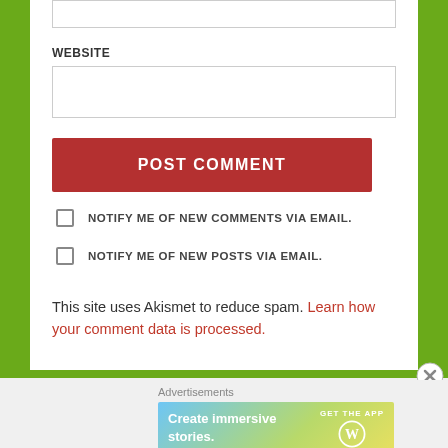WEBSITE
[Figure (screenshot): Text input field for website URL]
[Figure (screenshot): POST COMMENT red button]
NOTIFY ME OF NEW COMMENTS VIA EMAIL.
NOTIFY ME OF NEW POSTS VIA EMAIL.
This site uses Akismet to reduce spam. Learn how your comment data is processed.
Advertisements
[Figure (screenshot): WordPress ad banner: Create immersive stories. GET THE APP with WordPress logo]